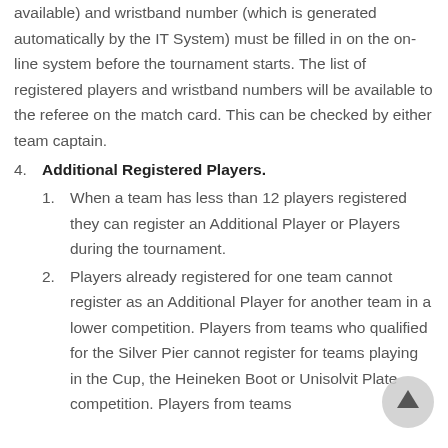available) and wristband number (which is generated automatically by the IT System) must be filled in on the on-line system before the tournament starts. The list of registered players and wristband numbers will be available to the referee on the match card. This can be checked by either team captain.
4. Additional Registered Players.
1. When a team has less than 12 players registered they can register an Additional Player or Players during the tournament.
2. Players already registered for one team cannot register as an Additional Player for another team in a lower competition. Players from teams who qualified for the Silver Pier cannot register for teams playing in the Cup, the Heineken Boot or Unisolvit Plate competition. Players from teams